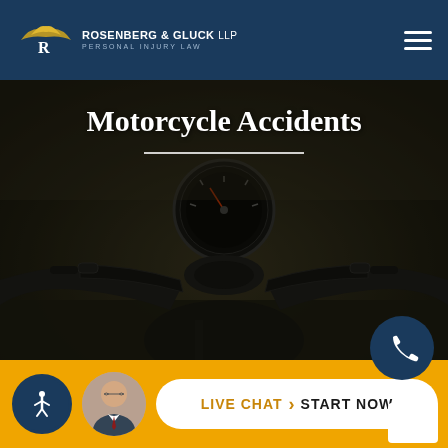[Figure (logo): Rosenberg & Gluck LLP Personal Injury Law firm logo with eagle graphic on dark navy header with hamburger menu icon]
[Figure (photo): Close-up photograph of a motorcycle cockpit/handlebars from the rider's perspective, showing speedometer, handlebars, and blurred road ahead. Dark, moody tone with overlay.]
Motorcycle Accidents
[Figure (infographic): Bottom action bar in gold/yellow with accessibility icon button, attorney headshot photo, Live Chat Start Now white pill button, and a phone call button overlay]